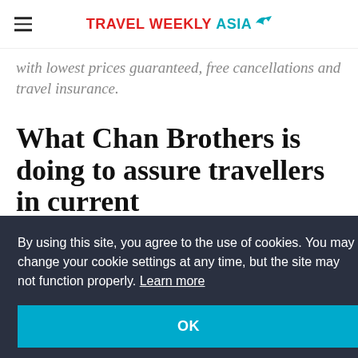TRAVEL WEEKLY ASIA
with lowest prices guaranteed, free cancellations and travel insurance.
What Chan Brothers is doing to assure travellers in current
By using this site, you agree to the use of cookies. You may change your cookie settings at any time, but the site may not function properly. Learn more
OK